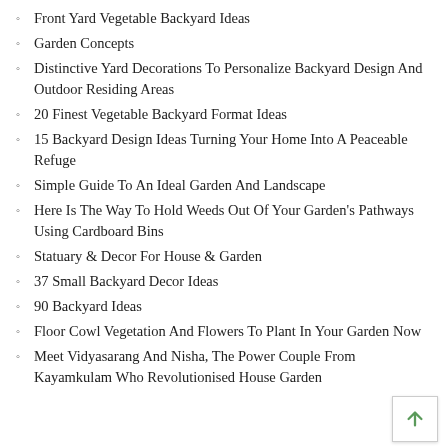Front Yard Vegetable Backyard Ideas
Garden Concepts
Distinctive Yard Decorations To Personalize Backyard Design And Outdoor Residing Areas
20 Finest Vegetable Backyard Format Ideas
15 Backyard Design Ideas Turning Your Home Into A Peaceable Refuge
Simple Guide To An Ideal Garden And Landscape
Here Is The Way To Hold Weeds Out Of Your Garden's Pathways Using Cardboard Bins
Statuary & Decor For House & Garden
37 Small Backyard Decor Ideas
90 Backyard Ideas
Floor Cowl Vegetation And Flowers To Plant In Your Garden Now
Meet Vidyasarang And Nisha, The Power Couple From Kayamkulam Who Revolutionised House Garden